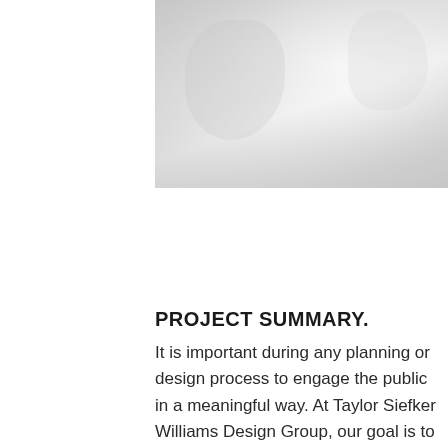[Figure (photo): A grayscale/light photo image at the top of the page, showing an indistinct scene with light and shadow tones.]
PROJECT SUMMARY.
It is important during any planning or design process to engage the public in a meaningful way. At Taylor Siefker Williams Design Group, our goal is to actively engage key stakeholders, residents, businesses, and other